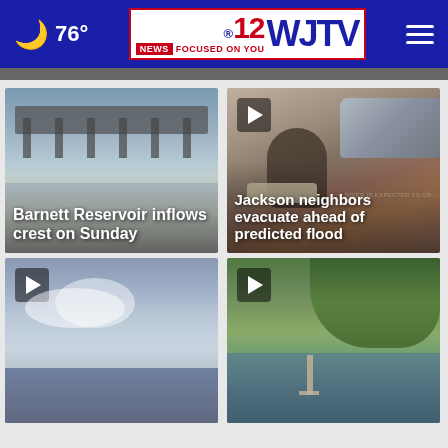76° WJTV 12 News Focused On You
[Figure (photo): Barnett Reservoir bridge with rushing water below, flood conditions]
[Figure (photo): Person shoveling sandbags next to a car, flood preparation in Jackson]
[Figure (photo): Cloudy sky over water, video thumbnail with play button]
[Figure (photo): Flooded area with trees and water, video thumbnail with play button]